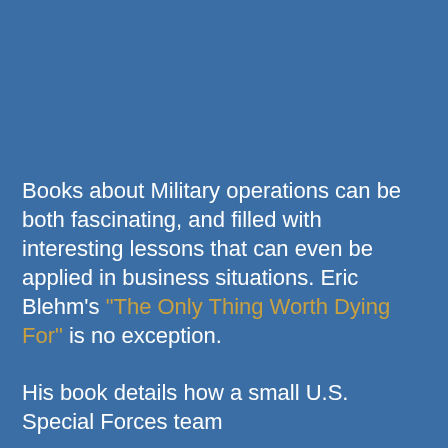Books about Military operations can be both fascinating, and filled with interesting lessons that can even be applied in business situations. Eric Blehm's "The Only Thing Worth Dying For" is no exception.
His book details how a small U.S. Special Forces team